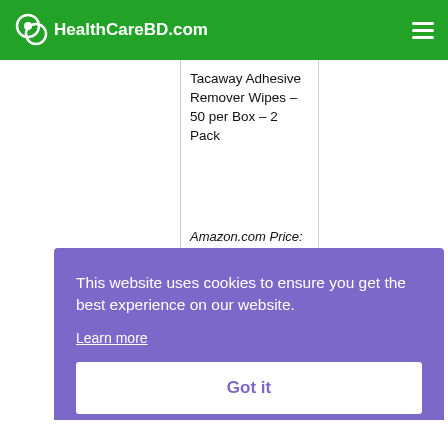HealthCareBD.com
Tacaway Adhesive Remover Wipes – 50 per Box – 2 Pack
Amazon.com Price: $25.49 (as of 27/08/2022 19:41 PST- Details)
This website uses cookies to ensure you get the best experience on our website. Learn more Got it